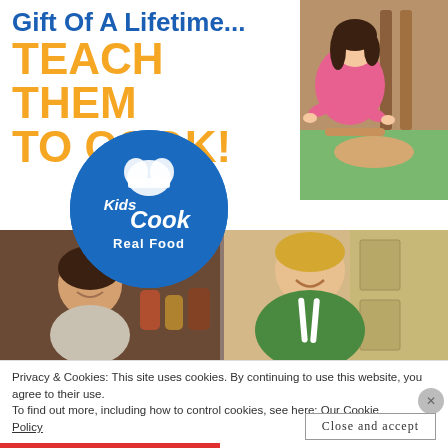Gift Of A Lifetime... TEACH THEM TO COOK!
[Figure (photo): Girl in pink shirt rolling dough on a green surface at a wooden table]
[Figure (logo): Kids Cook Real Food circular logo with blue background and white chef hat graphic and italic text]
[Figure (photo): Strip photo showing two children cooking: young boy smiling on left, older boy in green shirt and white apron on right]
Privacy & Cookies: This site uses cookies. By continuing to use this website, you agree to their use.
To find out more, including how to control cookies, see here: Our Cookie Policy
Close and accept